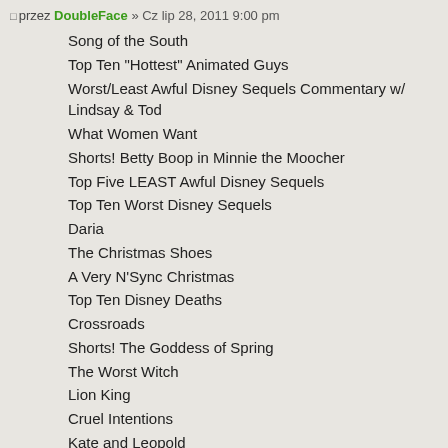□ przez DoubleFace » Cz lip 28, 2011 9:00 pm
Song of the South
Top Ten "Hottest" Animated Guys
Worst/Least Awful Disney Sequels Commentary w/ Lindsay & Tod
What Women Want
Shorts! Betty Boop in Minnie the Moocher
Top Five LEAST Awful Disney Sequels
Top Ten Worst Disney Sequels
Daria
The Christmas Shoes
A Very N'Sync Christmas
Top Ten Disney Deaths
Crossroads
Shorts! The Goddess of Spring
The Worst Witch
Lion King
Cruel Intentions
Kate and Leopold
City of Angels
You've Got Mail
Pocahontas: Three Years Later Commentary
Sleepless in Seattle vs. When Harry Met Sally
She's All That
Top Ten Songs About F**king (From Musicals)